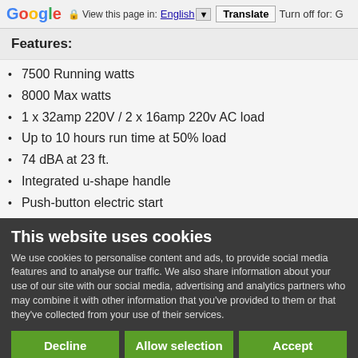Google — View this page in: English [▼] Translate | Turn off for: G
Features:
7500 Running watts
8000 Max watts
1 x 32amp 220V / 2 x 16amp 220v AC load
Up to 10 hours run time at 50% load
74 dBA at 23 ft.
Integrated u-shape handle
Push-button electric start
This website uses cookies
We use cookies to personalise content and ads, to provide social media features and to analyse our traffic. We also share information about your use of our site with our social media, advertising and analytics partners who may combine it with other information that you've provided to them or that they've collected from your use of their services.
Decline | Allow selection | Accept
☑ Necessary  ☐ Preferences  ☐ Statistics  ☐ Marketing  Show details